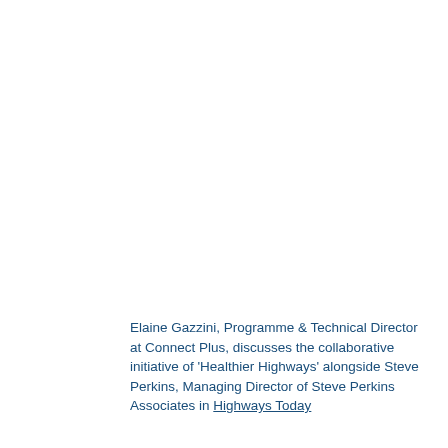Elaine Gazzini, Programme & Technical Director at Connect Plus, discusses the collaborative initiative of 'Healthier Highways' alongside Steve Perkins, Managing Director of Steve Perkins Associates in Highways Today